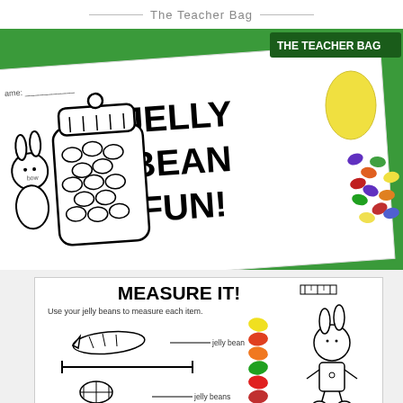The Teacher Bag
[Figure (photo): Photo showing two educational worksheets on a green background: one worksheet with 'JELLY BEAN FUN!' title and a drawing of a rabbit next to a jelly bean jar filled with heart-shaped jelly beans; beside the worksheet are real colorful jelly beans and a yellow egg-shaped manipulative. 'THE TEACHER BAG' text appears in the upper right corner.]
[Figure (photo): Preview of a worksheet titled 'MEASURE IT!' with instruction 'Use your jelly beans to measure each item.' showing line drawings of a carrot, a horizontal line, and an Easter egg, each with blank lines labeled 'jelly beans' for students to write their measurements. Real colorful jelly beans are shown on the right side next to a drawing of a bunny stick figure.]